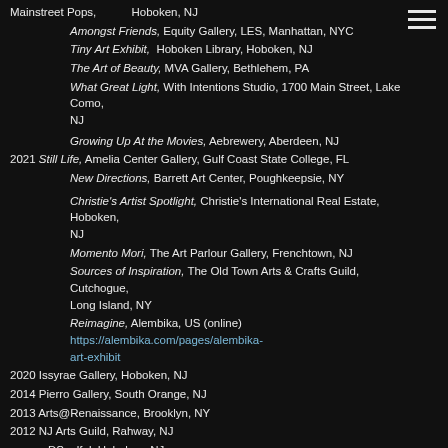Mainstreet Pops, Hoboken, NJ
Amongst Friends, Equity Gallery, LES, Manhattan, NYC
Tiny Art Exhibit, Hoboken Library, Hoboken, NJ
The Art of Beauty, MVA Gallery, Bethlehem, PA
What Great Light, With Intentions Studio, 1700 Main Street, Lake Como, NJ
Growing Up At the Movies, Aebrewery, Aberdeen, NJ
2021 Still Life, Amelia Center Gallery, Gulf Coast State College, FL
New Directions, Barrett Art Center, Poughkeepsie, NY
Christie's Artist Spotlight, Christie's International Real Estate, Hoboken, NJ
Momento Mori, The Art Parlour Gallery, Frenchtown, NJ
Sources of Inspiration, The Old Town Arts & Crafts Guild, Cutchogue, Long Island, NY
Reimagine, Alembika, US (online) https://alembika.com/pages/alembika-art-exhibit
2020 Issyrae Gallery, Hoboken, NJ
2014 Pierro Gallery, South Orange, NJ
2013 Arts@Renaissance, Brooklyn, NY
2012 NJ Arts Guild, Rahway, NJ
DSoulful, Hoboken, NJ
2011 Arts@Renaissance, Brooklyn, NY
"She x She," BAMA, Hoboken, NJ
2010 "Making Room" Fireworks Cove, Long Island, NY